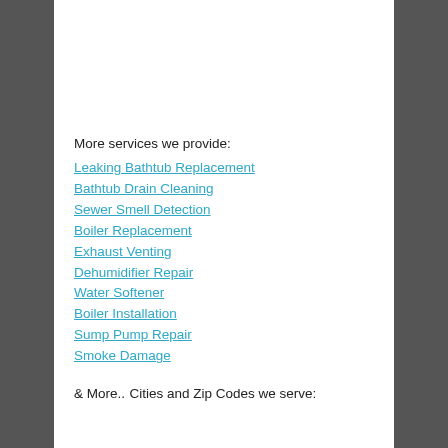More services we provide:
Leaking Bathtub Replacement
Bathtub Drain Cleaning
Sewer Smell Detection
Boiler Replacement
Exhaust Venting
Dehumidifier Repair
Water Softener
Boiler Installation
Sump Pump Repair
Smoke Damage
& More..
Cities and Zip Codes we serve: